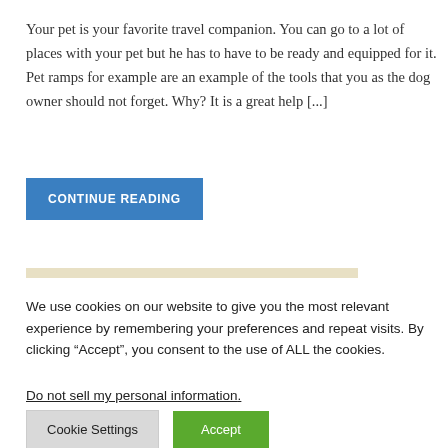Your pet is your favorite travel companion. You can go to a lot of places with your pet but he has to have to be ready and equipped for it. Pet ramps for example are an example of the tools that you as the dog owner should not forget. Why? It is a great help [...]
CONTINUE READING
We use cookies on our website to give you the most relevant experience by remembering your preferences and repeat visits. By clicking “Accept”, you consent to the use of ALL the cookies.
Do not sell my personal information.
Cookie Settings
Accept